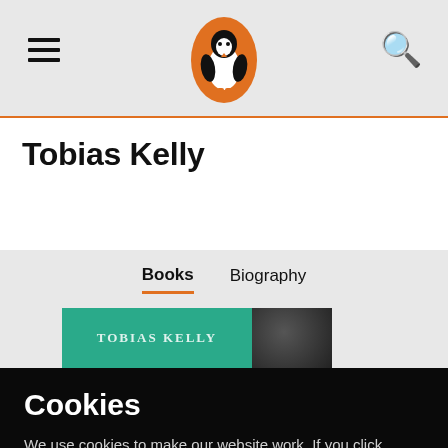Penguin Books navigation bar with hamburger menu, Penguin logo, and search icon
Tobias Kelly
Books  Biography
[Figure (screenshot): Book cover thumbnail — teal/green book cover with TOBIAS KELLY text and partial circular image visible]
Cookies
We use cookies to make our website work. If you click 'Accept All' we will use cookies to understand how you use our services and to show you personalised advertising and other content. You can change your cookie settings by clicking 'Manage Cookies'. For more information please see our cookie policy